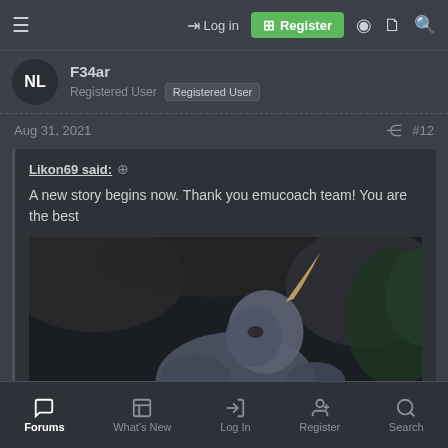Login | Register
F34ar
Registered User | Registered User
Aug 31, 2021  #12
Likon69 said: ↑
A new story begins now. Thank you emucoach team! You are the best
[Figure (screenshot): Video game character screenshot with 'Click to expand...' link overlay]
nice
Forums | What's New | Log In | Register | Search